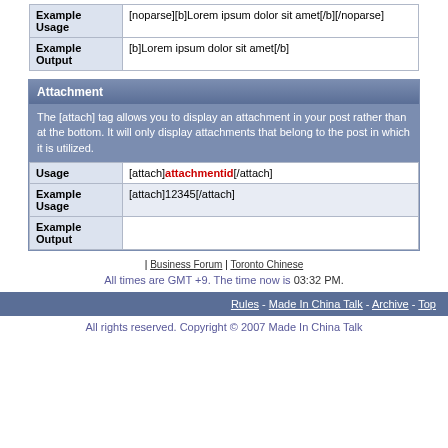| Example Usage | [noparse][b]Lorem ipsum dolor sit amet[/b][/noparse] |
| Example Output | [b]Lorem ipsum dolor sit amet[/b] |
| Attachment |
| --- |
|  | The [attach] tag allows you to display an attachment in your post rather than at the bottom. It will only display attachments that belong to the post in which it is utilized. |
| Usage | [attach]attachmentid[/attach] |
| Example Usage | [attach]12345[/attach] |
| Example Output |  |
| Business Forum | Toronto Chinese
All times are GMT +9. The time now is 03:32 PM.
Rules - Made In China Talk - Archive - Top
All rights reserved. Copyright © 2007 Made In China Talk